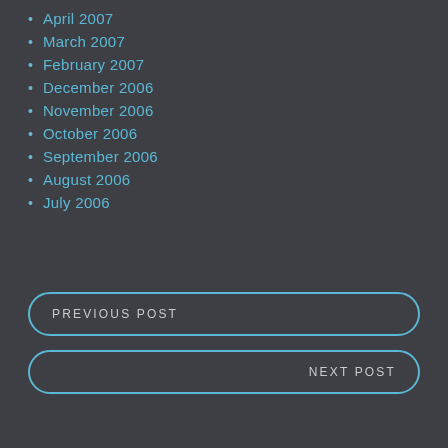April 2007
March 2007
February 2007
December 2006
November 2006
October 2006
September 2006
August 2006
July 2006
PREVIOUS POST
NEXT POST